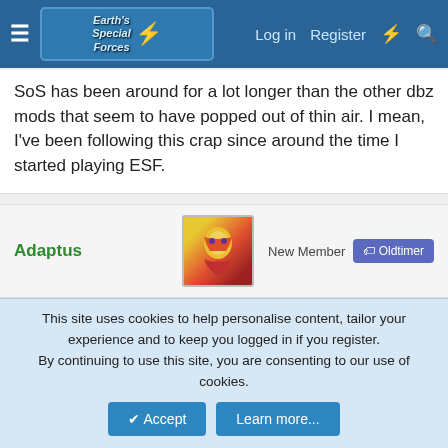Earth's Special Forces forum — Log in | Register
SoS has been around for a lot longer than the other dbz mods that seem to have popped out of thin air. I mean, I've been following this crap since around the time I started playing ESF.
Adaptus — New Member — Oldtimer
Apr 15, 2007  #15
LegendarY said: ↑
I'm kinda annoyed here atm..

First off, there's way too much addons/mods of dbz, which never get
This site uses cookies to help personalise content, tailor your experience and to keep you logged in if you register.
By continuing to use this site, you are consenting to our use of cookies.